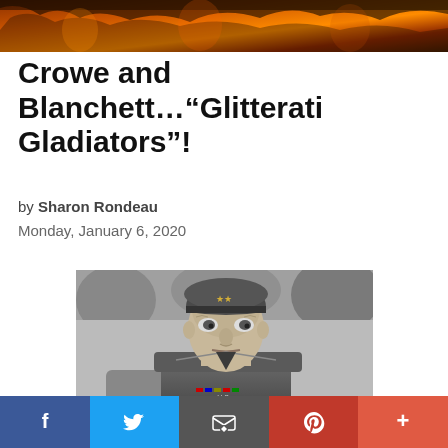[Figure (photo): Top banner image showing orange/red fire and tree branches background]
Crowe and Blanchett…"Glitterati Gladiators"!
by Sharon Rondeau
Monday, January 6, 2020
[Figure (photo): Black and white photograph of a military general in uniform wearing a garrison cap with stars, looking to the side, outdoors setting]
[Figure (infographic): Social media sharing bar with Facebook, Twitter, Email, Pinterest, and More buttons]